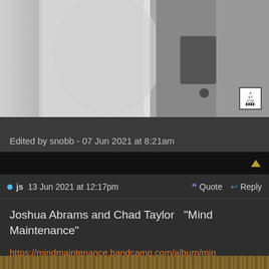[Figure (photo): Black and white photograph showing draped fabric/clothing, with a small logo box in the bottom right corner reading 'A ST IOM']
Edited by snobb - 07 Jun 2021 at 8:21am
js  13 Jun 2021 at 12:17pm    Quote   Reply
Joshua Abrams and Chad Taylor   "Mind Maintenance"
https://mindmaintenance.bandcamp.com/album/min maintenance
[Figure (photo): Partial view of a wooden surface at the bottom of the page]